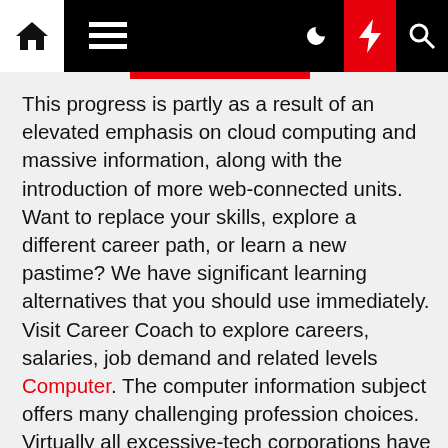Navigation bar with home icon, menu icon, moon icon, bolt icon, search icon
This progress is partly as a result of an elevated emphasis on cloud computing and massive information, along with the introduction of more web-connected units. Want to replace your skills, explore a different career path, or learn a new pastime? We have significant learning alternatives that you should use immediately. Visit Career Coach to explore careers, salaries, job demand and related levels Computer. The computer information subject offers many challenging profession choices. Virtually all excessive-tech corporations have a seamless need for skilled technicians and specialists who can provide excellent computer support in varied capacities. The demand for computer help specialists shall be robust as organizations and people proceed to undertake increasingly